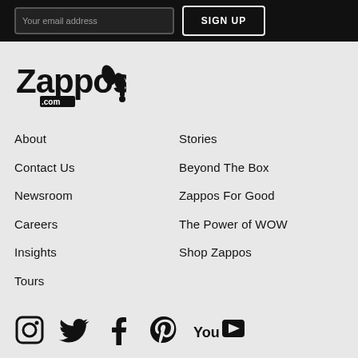[Figure (screenshot): Email signup bar with input field 'Your email address' and SIGN UP button on dark background]
[Figure (logo): Zappos.com logo in black and white]
About
Stories
Contact Us
Beyond The Box
Newsroom
Zappos For Good
Careers
The Power of WOW
Insights
Shop Zappos
Tours
[Figure (illustration): Social media icons: Instagram, Twitter, Facebook, Pinterest, YouTube]